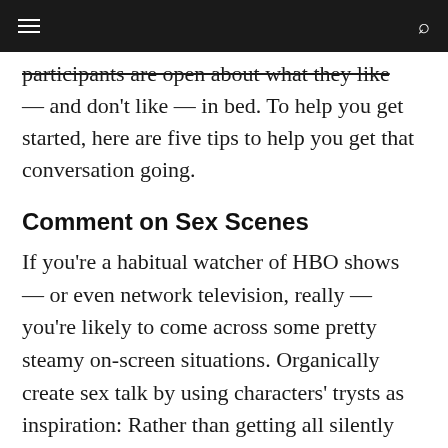≡  [navigation bar]  Q
participants are open about what they like — and don't like — in bed. To help you get started, here are five tips to help you get that conversation going.
Comment on Sex Scenes
If you're a habitual watcher of HBO shows — or even network television, really — you're likely to come across some pretty steamy on-screen situations. Organically create sex talk by using characters' trysts as inspiration: Rather than getting all silently hot and bothered by the action you're watching, use